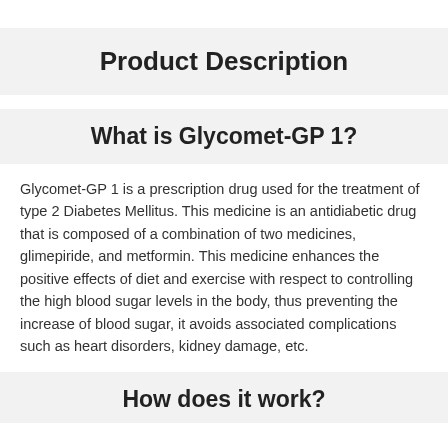Product Description
What is Glycomet-GP 1?
Glycomet-GP 1 is a prescription drug used for the treatment of type 2 Diabetes Mellitus. This medicine is an antidiabetic drug that is composed of a combination of two medicines, glimepiride, and metformin. This medicine enhances the positive effects of diet and exercise with respect to controlling the high blood sugar levels in the body, thus preventing the increase of blood sugar, it avoids associated complications such as heart disorders, kidney damage, etc.
How does it work?